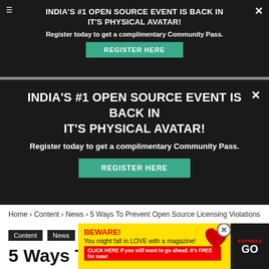[Figure (screenshot): Dark notification banner 1: INDIA'S #1 OPEN SOURCE EVENT IS BACK IN IT'S PHYSICAL AVATAR! with Register Here button]
[Figure (screenshot): Dark notification banner 2 (expanded): INDIA'S #1 OPEN SOURCE EVENT IS BACK IN IT'S PHYSICAL AVATAR! with Register Here button]
Home › Content › News › 5 Ways To Prevent Open Source Licensing Violations
Content   News
5 Ways To Prevent Open Source Licensing Violations
[Figure (screenshot): Yellow ad overlay: BEWARE! You might fall in LOVE with a magazine! CLICK HERE If you still want to go ahead. It's FREE for now! with heart and Express magazine imagery]